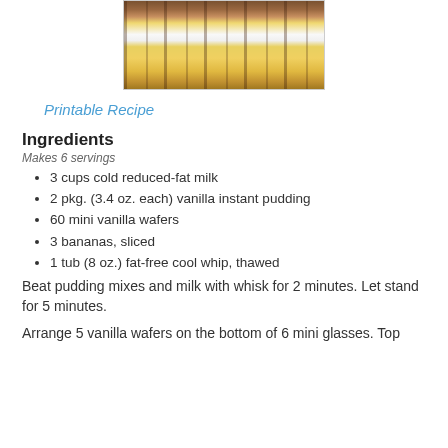[Figure (photo): Photo of layered vanilla pudding dessert in glass jars with wafers, banana slices, and whipped cream on a wooden surface]
Printable Recipe
Ingredients
Makes 6 servings
3 cups cold reduced-fat milk
2 pkg. (3.4 oz. each) vanilla instant pudding
60 mini vanilla wafers
3 bananas, sliced
1 tub (8 oz.) fat-free cool whip, thawed
Beat pudding mixes and milk with whisk for 2 minutes. Let stand for 5 minutes.
Arrange 5 vanilla wafers on the bottom of 6 mini glasses. Top